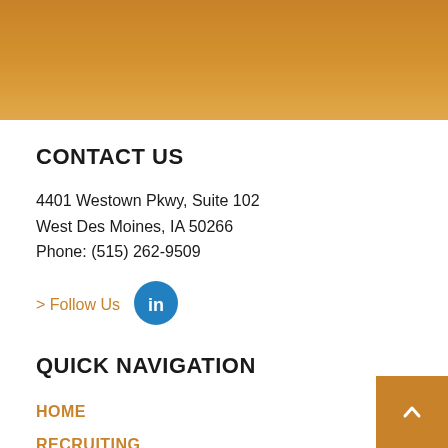[Figure (other): Orange/golden gradient banner header strip]
CONTACT US
4401 Westown Pkwy, Suite 102
West Des Moines, IA 50266
Phone: (515) 262-9509
> Follow Us
[Figure (logo): LinkedIn circular blue icon with 'in' text]
QUICK NAVIGATION
HOME
RECRUITING
ONBOARDING